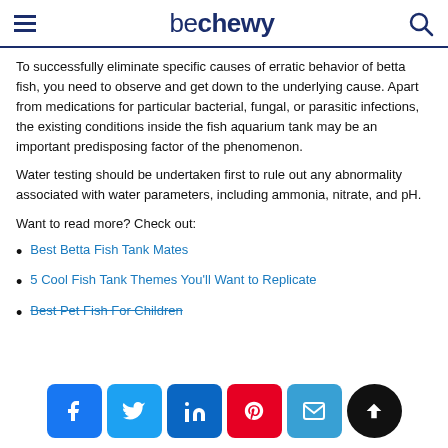be chewy (logo with hamburger menu and search icon)
To successfully eliminate specific causes of erratic behavior of betta fish, you need to observe and get down to the underlying cause. Apart from medications for particular bacterial, fungal, or parasitic infections, the existing conditions inside the fish aquarium tank may be an important predisposing factor of the phenomenon.
Water testing should be undertaken first to rule out any abnormality associated with water parameters, including ammonia, nitrate, and pH.
Want to read more? Check out:
Best Betta Fish Tank Mates
5 Cool Fish Tank Themes You'll Want to Replicate
Best Pet Fish For Children
[Figure (infographic): Social sharing bar with Facebook, Twitter, LinkedIn, Pinterest, Email, and scroll-up buttons]